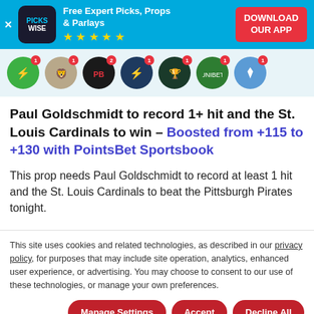[Figure (screenshot): Pickswise app advertisement banner with logo, free expert picks text, star rating, and download button]
[Figure (infographic): Row of sportsbook app icons including DraftKings, FanDuel, PointsBet, and others with notification badges]
Paul Goldschmidt to record 1+ hit and the St. Louis Cardinals to win – Boosted from +115 to +130 with PointsBet Sportsbook
This prop needs Paul Goldschmidt to record at least 1 hit and the St. Louis Cardinals to beat the Pittsburgh Pirates tonight.
This site uses cookies and related technologies, as described in our privacy policy, for purposes that may include site operation, analytics, enhanced user experience, or advertising. You may choose to consent to our use of these technologies, or manage your own preferences.